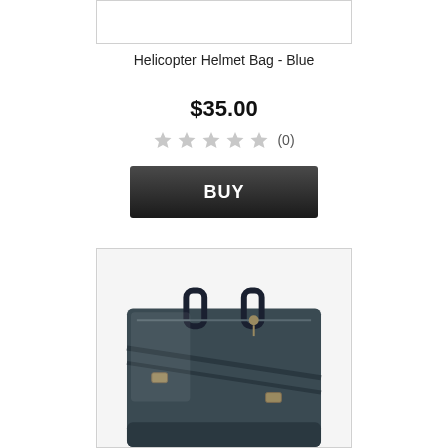[Figure (photo): Top portion of product image (cropped) — white background]
Helicopter Helmet Bag - Blue
$35.00
★★★★★ (0)
BUY
[Figure (photo): Helicopter Helmet Bag in blue/dark color — a large flat bag with handles and straps visible, photographed on white background]